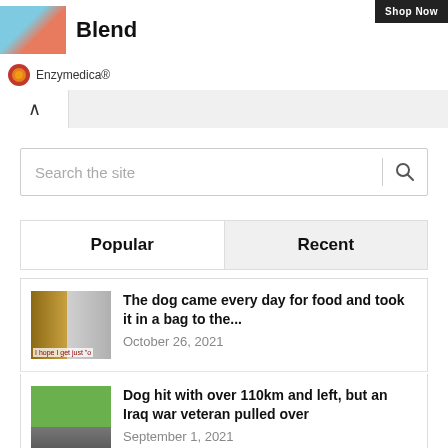[Figure (screenshot): Ad banner showing product image thumbnail on left, bold title 'Blend', and 'Shop Now' button on right]
Enzymedica®
[Figure (screenshot): Collapse/accordion control bar with up arrow button on left and gray bar on right]
[Figure (screenshot): Search bar with placeholder text 'Search the site' and magnifying glass icon]
Popular
Recent
The dog came every day for food and took it in a bag to the...
October 26, 2021
Dog hit with over 110km and left, but an Iraq war veteran pulled over
September 1, 2021
Dog Abandoned For Being Different Finally Finds Couple Who Loves Him For Who He Is